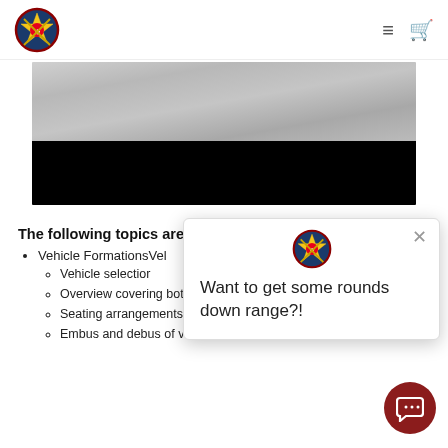prepyou.eu navigation bar with logo, hamburger menu, and cart icon
[Figure (photo): Hero image showing snowy rocky terrain on top half and black area on bottom half]
The following topics are cov[ered:]
Vehicle FormationsVel[hicle Formations]
Vehicle selection [...]
Overview covering both high risk and low-risk operations
Seating arrangements for client and team me[mbers]
Embus and debus of vehicles with the client or clients
[Figure (screenshot): Popup chat widget with prepyou.eu logo badge and text: Want to get some rounds down range?! with an X close button]